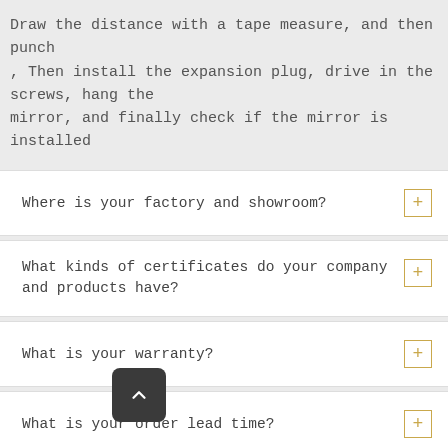Draw the distance with a tape measure, and then punch , Then install the expansion plug, drive in the screws, hang the mirror, and finally check if the mirror is installed
Where is your factory and showroom?
What kinds of certificates do your company and products have?
What is your warranty?
What is your order lead time?
What is your MOQ? It is possible to get a sample?